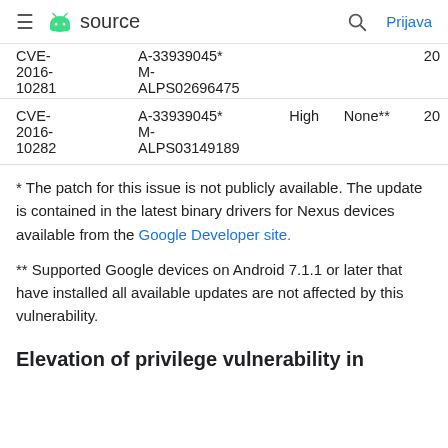≡  source   🔍  Prijava
| CVE | References | Severity | Updated Google devices | Date |
| --- | --- | --- | --- | --- |
| CVE-2016-10281 | A-33939045* M-ALPS02696475 |  |  | 20 |
| CVE-2016-10282 | A-33939045* M-ALPS03149189 | High | None** | 20 |
* The patch for this issue is not publicly available. The update is contained in the latest binary drivers for Nexus devices available from the Google Developer site.
** Supported Google devices on Android 7.1.1 or later that have installed all available updates are not affected by this vulnerability.
Elevation of privilege vulnerability in